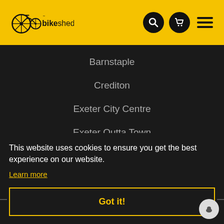[Figure (logo): Bikeshed logo: bicycle wheel icon with 'bikeshed' text in black on yellow background header]
Barnstaple
Crediton
Exeter City Centre
Exeter Outta Town
This website uses cookies to ensure you get the best experience on our website.
Learn more
Got it!